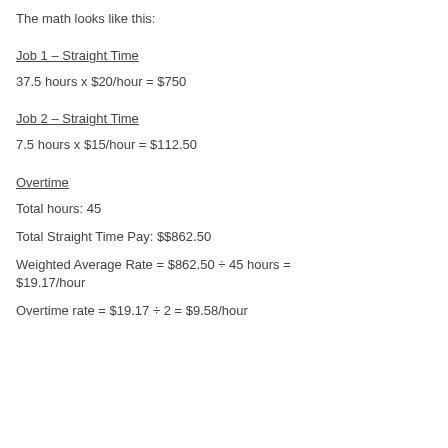The math looks like this:
Job 1 – Straight Time
37.5 hours x $20/hour = $750
Job 2 – Straight Time
7.5 hours x $15/hour = $112.50
Overtime
Total hours: 45
Total Straight Time Pay: $$862.50
Weighted Average Rate = $862.50 ÷ 45 hours = $19.17/hour
Overtime rate = $19.17 ÷ 2 = $9.58/hour